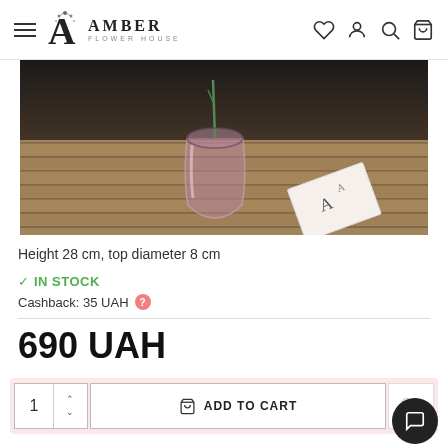Amber Flower House — navigation header with hamburger menu, logo, and icons (wishlist, account, search, cart)
[Figure (photo): A glass vase with a flower stem on a wooden slatted table with an Amber Flower House card]
Height 28 cm, top diameter 8 cm
✓ IN STOCK
Cashback: 35 UAH
690 UAH
1  ADD TO CART